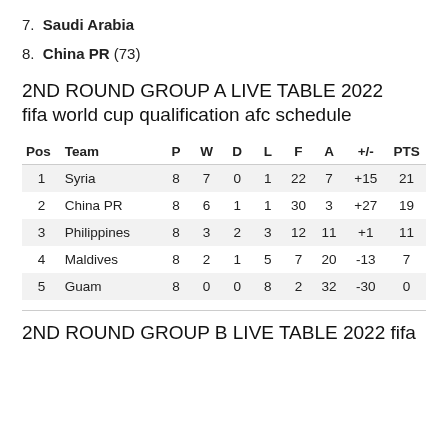7.  Saudi Arabia
8.  China PR (73)
2ND ROUND GROUP A LIVE TABLE 2022 fifa world cup qualification afc schedule
| Pos | Team | P | W | D | L | F | A | +/- | PTS |
| --- | --- | --- | --- | --- | --- | --- | --- | --- | --- |
| 1 | Syria | 8 | 7 | 0 | 1 | 22 | 7 | +15 | 21 |
| 2 | China PR | 8 | 6 | 1 | 1 | 30 | 3 | +27 | 19 |
| 3 | Philippines | 8 | 3 | 2 | 3 | 12 | 11 | +1 | 11 |
| 4 | Maldives | 8 | 2 | 1 | 5 | 7 | 20 | -13 | 7 |
| 5 | Guam | 8 | 0 | 0 | 8 | 2 | 32 | -30 | 0 |
2ND ROUND GROUP B LIVE TABLE 2022 fifa